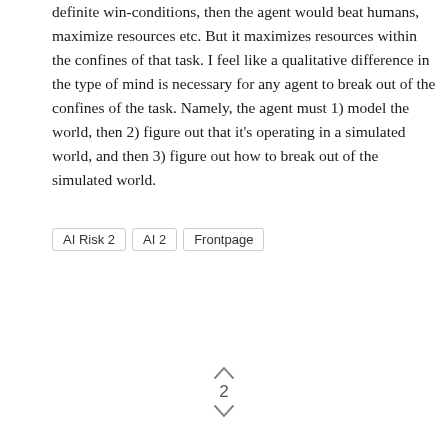definite win-conditions, then the agent would beat humans, maximize resources etc. But it maximizes resources within the confines of that task. I feel like a qualitative difference in the type of mind is necessary for any agent to break out of the confines of the task. Namely, the agent must 1) model the world, then 2) figure out that it's operating in a simulated world, and then 3) figure out how to break out of the simulated world.
AI Risk 2
AI 2
Frontpage
2